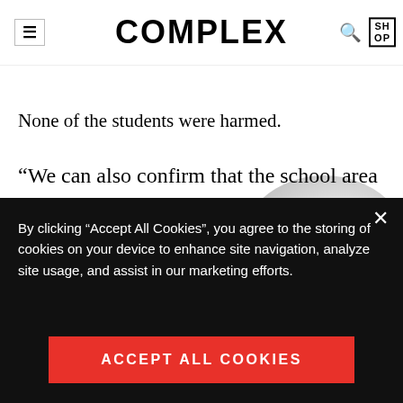COMPLEX
None of the students were harmed.
“We can also confirm that the school area has been thoroughly inspected. To further confirm the area’s safety for our students and staff members moving
[Figure (screenshot): Cookie consent banner overlay on Complex website article page. Dark/black background banner at the bottom with text: By clicking “Accept All Cookies”, you agree to the storing of cookies on your device to enhance site navigation, analyze site usage, and assist in our marketing efforts. Red ACCEPT ALL COOKIES button.]
By clicking “Accept All Cookies”, you agree to the storing of cookies on your device to enhance site navigation, analyze site usage, and assist in our marketing efforts.
ACCEPT ALL COOKIES